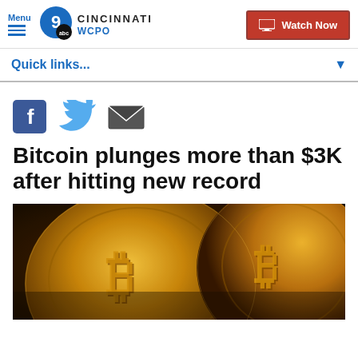Menu | WCPO 9 ABC CINCINNATI | Watch Now
Quick links...
[Figure (illustration): Social sharing icons: Facebook, Twitter, Email]
Bitcoin plunges more than $3K after hitting new record
[Figure (photo): Close-up photograph of gold Bitcoin coins with warm amber/orange lighting]